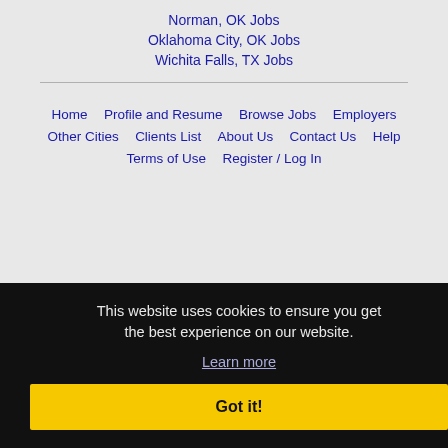Norman, OK Jobs
Oklahoma City, OK Jobs
Wichita Falls, TX Jobs
Home
Profile and Resume
Browse Jobs
Employers
Other Cities
Clients List
About Us
Contact Us
Help
Terms of Use
Register / Log In
This website uses cookies to ensure you get the best experience on our website.
Learn more
Got it!